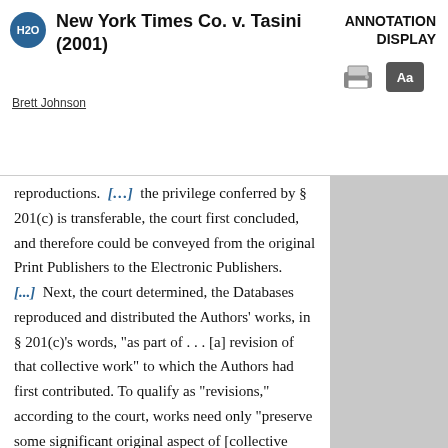New York Times Co. v. Tasini (2001)
ANNOTATION DISPLAY
Brett Johnson
reproductions. [...] the privilege conferred by § 201(c) is transferable, the court first concluded, and therefore could be conveyed from the original Print Publishers to the Electronic Publishers. [...] Next, the court determined, the Databases reproduced and distributed the Authors' works, in § 201(c)'s words, "as part of . . . [a] revision of that collective work" to which the Authors had first contributed. To qualify as "revisions," according to the court, works need only "preserve some significant original aspect of [collective